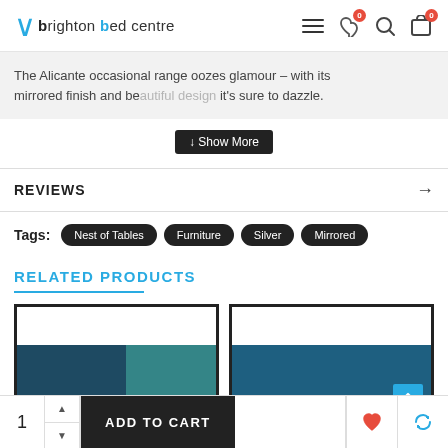[Figure (screenshot): Brighton Bed Centre website header with logo, hamburger menu, heart icon with badge 0, search icon, and cart icon with badge 0]
The Alicante occasional range oozes glamour – with its mirrored finish and be... it's sure to dazzle.
↓ Show More
REVIEWS →
Tags: Nest of Tables  Furniture  Silver  Mirrored
RELATED PRODUCTS
[Figure (photo): Related product card 1 – furniture item against blue wall]
[Figure (photo): Related product card 2 – furniture item against blue wall with scroll-up button]
1   ADD TO CART